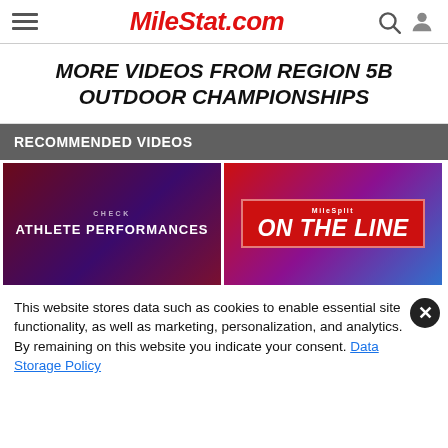MileStat.com
MORE VIDEOS FROM REGION 5B OUTDOOR CHAMPIONSHIPS
RECOMMENDED VIDEOS
[Figure (screenshot): Video thumbnail with dark purple/red background showing text: CHECK ATHLETE PERFORMANCES]
[Figure (screenshot): Video thumbnail with red/purple/blue gradient background showing MileSplit ON THE LINE logo]
This website stores data such as cookies to enable essential site functionality, as well as marketing, personalization, and analytics. By remaining on this website you indicate your consent. Data Storage Policy